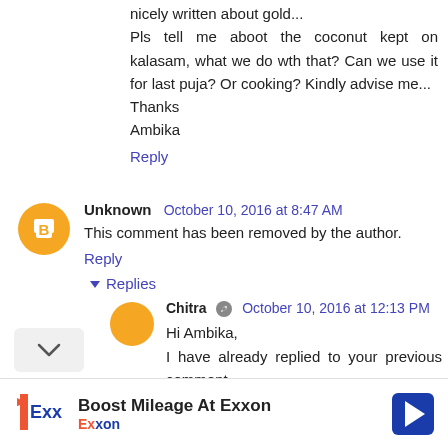nicely written about gold...
Pls tell me aboot the coconut kept on kalasam, what we do wth that? Can we use it for last puja? Or cooking? Kindly advise me...
Thanks
Ambika
Reply
Unknown  October 10, 2016 at 8:47 AM
This comment has been removed by the author.
Reply
▾ Replies
Chitra  October 10, 2016 at 12:13 PM
Hi Ambika,
I have already replied to your previous comment.
You can use it for making some sweets like burfi
[Figure (infographic): Exxon advertisement banner: Boost Mileage At Exxon, with Exxon logo and navigation sign icon]